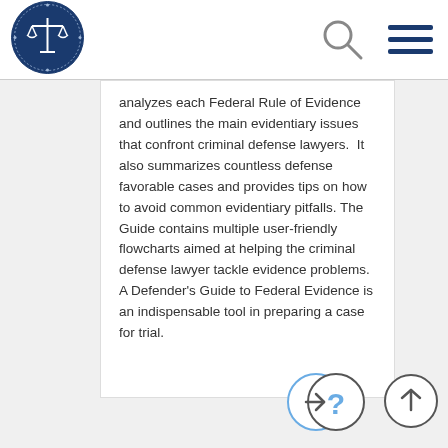[Figure (logo): National Association of Criminal Defense Lawyers circular logo with blue background and scales of justice]
analyzes each Federal Rule of Evidence and outlines the main evidentiary issues that confront criminal defense lawyers. It also summarizes countless defense favorable cases and provides tips on how to avoid common evidentiary pitfalls. The Guide contains multiple user-friendly flowcharts aimed at helping the criminal defense lawyer tackle evidence problems. A Defender's Guide to Federal Evidence is an indispensable tool in preparing a case for trial.